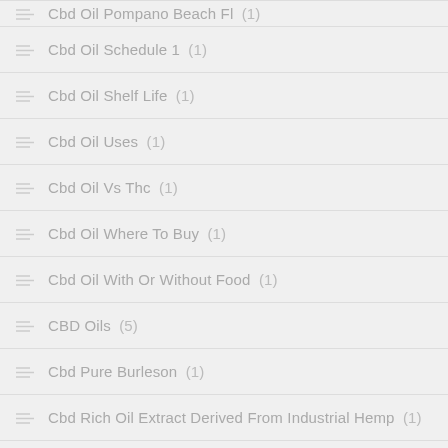Cbd Oil Pompano Beach Fl (1)
Cbd Oil Schedule 1 (1)
Cbd Oil Shelf Life (1)
Cbd Oil Uses (1)
Cbd Oil Vs Thc (1)
Cbd Oil Where To Buy (1)
Cbd Oil With Or Without Food (1)
CBD Oils (5)
Cbd Pure Burleson (1)
Cbd Rich Oil Extract Derived From Industrial Hemp (1)